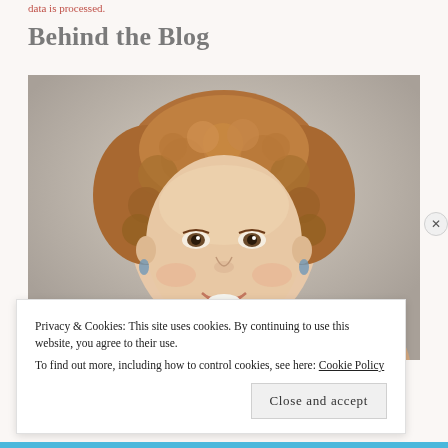data is processed.
Behind the Blog
[Figure (photo): Portrait photo of a smiling woman with curly reddish-brown hair, wearing a floral top, against a neutral beige background.]
Privacy & Cookies: This site uses cookies. By continuing to use this website, you agree to their use.
To find out more, including how to control cookies, see here: Cookie Policy
Close and accept